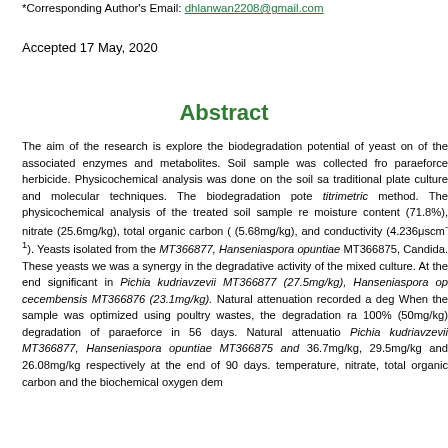*Corresponding Author's Email: dhlanwan2208@gmail.com
Accepted 17 May, 2020
Abstract
The aim of the research is explore the biodegradation potential of yeast on of the associated enzymes and metabolites. Soil sample was collected fro paraeforce herbicide. Physicochemical analysis was done on the soil sa traditional plate culture and molecular techniques. The biodegradation pote titrimetric method. The physicochemical analysis of the treated soil sample re moisture content (71.8%), nitrate (25.6mg/kg), total organic carbon ( (5.68mg/kg), and conductivity (4.236μscm-1). Yeasts isolated from the MT366877, Hanseniaspora opuntiae MT366875, Candida. These yeasts we was a synergy in the degradative activity of the mixed culture. At the end significant in Pichia kudriavzevii MT366877 (27.5mg/kg), Hanseniaspora op cecembensis MT366876 (23.1mg/kg). Natural attenuation recorded a deg When the sample was optimized using poultry wastes, the degradation ra 100% (50mg/kg) degradation of paraeforce in 56 days. Natural attenuatio Pichia kudriavzevii MT366877, Hanseniaspora opuntiae MT366875 and 36.7mg/kg, 29.5mg/kg and 26.08mg/kg respectively at the end of 90 days. temperature, nitrate, total organic carbon and the biochemical oxygen dem